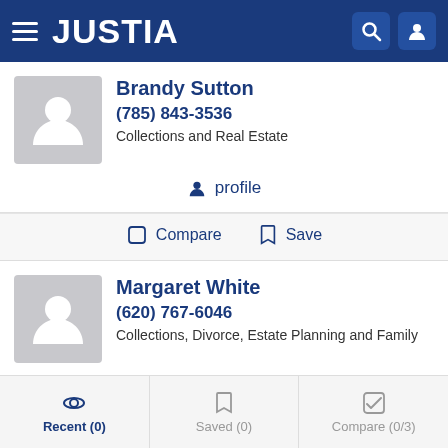JUSTIA
Brandy Sutton
(785) 843-3536
Collections and Real Estate
profile
Compare  Save
Margaret White
(620) 767-6046
Collections, Divorce, Estate Planning and Family
profile
Compare  Save
Recent (0)  Saved (0)  Compare (0/3)